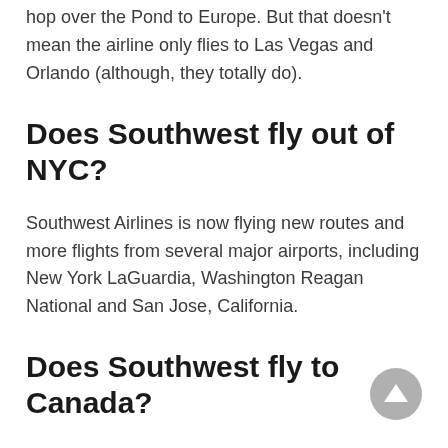hop over the Pond to Europe. But that doesn't mean the airline only flies to Las Vegas and Orlando (although, they totally do).
Does Southwest fly out of NYC?
Southwest Airlines is now flying new routes and more flights from several major airports, including New York LaGuardia, Washington Reagan National and San Jose, California.
Does Southwest fly to Canada?
Southwest Airlines is the largest US airline that doesn't serve Canada. The lack of service isn't for a lack of potential customers but is technological is nature. Southwest's system isn't set up to handle foreign currency and can not accept foreign flights.